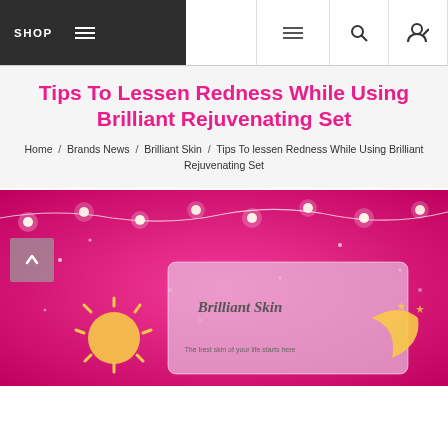SHOP — Navigation bar with menu, search, and account icons
Tips To Lessen Redness While Using Brilliant Rejuvenating Set
Home / Brands News / Brilliant Skin / Tips To lessen Redness While Using Brilliant Rejuvenating Set
[Figure (photo): Pink sparkly background with string lights and a Brilliant Skin product box featuring a sun and moon design with the text 'Brilliant Skin' and 'The best skin of your life starts here']